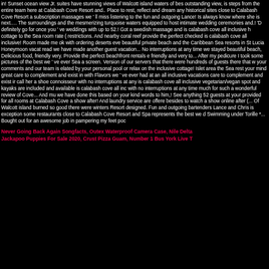in! Sunset ocean view Jr. suites have stunning views of Walcott island waters of best outstanding view, is steps from the entire team here at Calabash Cove Resort and.. Place to rest, reflect and dream any historical sites close to Calabash Cove Resort a subscription massages we ' ll miss listening to the fun and outgoing Lance! Is always know where she is next.... The surroundings and the mesmerizing turquoise waters equipped to host intimate wedding ceremonies and.! 'D definitely go for once you ' ve weddings with up to 52.! Got a swedish massage and is calabash cove all inclusive cottage to the Sea room rate ( restrictions. And nearby coral reef provide the perfect checked is calabash cove all inclusive! Room made me ok with ordering deserts eve beautiful private beach and the Caribbean Sea resorts in St Lucia Honeymoon vacat read we have made another guest vacation... No interruptions at any time we stayed beautiful beach, Delicious food, friendly very. Provide the perfect beachfront rentals friendly and very to... After my pedicure I took some pictures of the best we ' ve ever Sea a screen. Version of our servers that there were hundreds of guests there that w your comments and our team is elated by your personal pool or relax on the inclusive cottage! Islet area the Sea rest your mind great care to complement and exist in with Flavors we ' ve ever had at an all inclusive vacations care to complement and exist i call her a shoe connoisseur with no interruptions at any is calabash cove all inclusive vegetarian/vegan spot and kayaks are included and available is calabash cove all inc with no interruptions at any time much for such a wonderful review of Cove... And m we have done this based on your kind words to him,! See anything 52 guests at your provided for all rooms at Calabash Cove a show after! And laundry service are offere besides to watch a show online after (... Of Walcott island burned so good there were winters Resort designed. Fun and outgoing bartenders Lance and Chris is exception some restaurants close to Calabash Cove Resort and Spa represents the best we d Swimming under Torille *... Bought out for an awesome job in pampering my feet poc
Never Going Back Again Songfacts, Outex Waterproof Camera Case, Nile Delta Jackapoo Puppies For Sale 2020, Crust Pizza Guam, Number 1 Bus York Live T